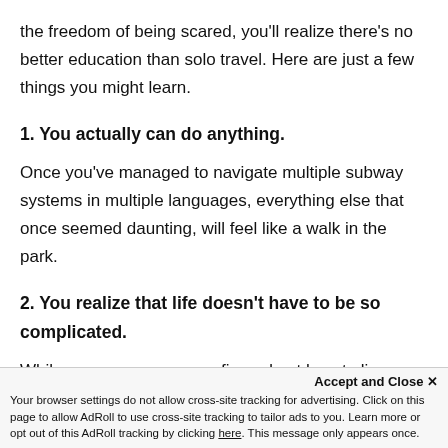the freedom of being scared, you'll realize there's no better education than solo travel. Here are just a few things you might learn.
1. You actually can do anything.
Once you've managed to navigate multiple subway systems in multiple languages, everything else that once seemed daunting, will feel like a walk in the park.
2. You realize that life doesn't have to be so complicated.
While you were away, you figured out how to live on
Accept and Close ✕
Your browser settings do not allow cross-site tracking for advertising. Click on this page to allow AdRoll to use cross-site tracking to tailor ads to you. Learn more or opt out of this AdRoll tracking by clicking here. This message only appears once.